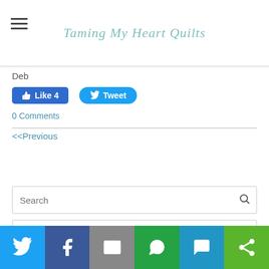Taming My Heart Quilts
Deb
[Figure (other): Facebook Like button with count 4 and Twitter Tweet button]
0 Comments
<<Previous
[Figure (other): Search input box with magnifying glass icon]
Enter your email address to subscribe to updates:
[Figure (other): Bottom social sharing bar with Twitter, Facebook, Email, WhatsApp, SMS, and Share icons]